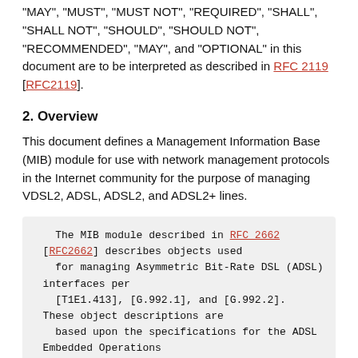"MAY", "MUST", "MUST NOT", "REQUIRED", "SHALL", "SHALL NOT", "SHOULD", "SHOULD NOT", "RECOMMENDED", "MAY", and "OPTIONAL" in this document are to be interpreted as described in RFC 2119 [RFC2119].
2. Overview
This document defines a Management Information Base (MIB) module for use with network management protocols in the Internet community for the purpose of managing VDSL2, ADSL, ADSL2, and ADSL2+ lines.
The MIB module described in RFC 2662 [RFC2662] describes objects used for managing Asymmetric Bit-Rate DSL (ADSL) interfaces per [T1E1.413], [G.992.1], and [G.992.2]. These object descriptions are based upon the specifications for the ADSL Embedded Operations Channel (EOC) as defined in American National Standards Institute